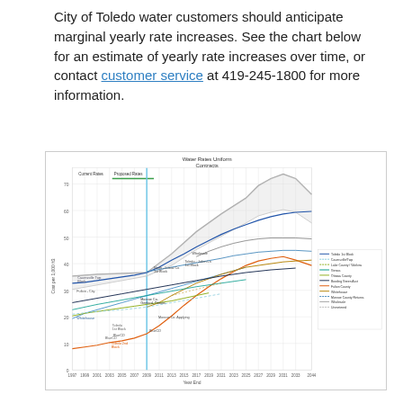City of Toledo water customers should anticipate marginal yearly rate increases. See the chart below for an estimate of yearly rate increases over time, or contact customer service at 419-245-1800 for more information.
[Figure (continuous-plot): Multi-series line chart showing historical and projected water rates for various Toledo-area customers and contracts from approximately 1997 to 2044. Lines include Toledo 1st Block, Toledo 2nd Block, Fulton County, Whitehouse, Ottawa County, Wood County, Monroe County, Genoa, Bowling Green, Toledo - Julien Ln 1st Block, Wholesale, and Water Rates Uniform Contracts. A vertical blue line marks current rates vs proposed rates.]